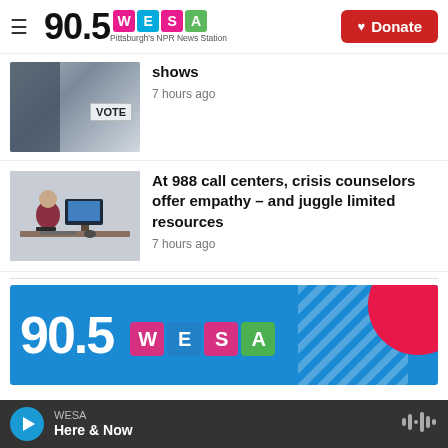90.5 WESA – Pittsburgh's NPR News Station | Donate
shows
7 hours ago
[Figure (photo): A polling place with a VOTE sign visible]
At 988 call centers, crisis counselors offer empathy – and juggle limited resources
7 hours ago
[Figure (photo): A person sitting at a computer desk in an office setting]
[Figure (logo): 90.5 WESA radio station banner in blue with colorful letter blocks]
WESA – Here & Now (audio player)